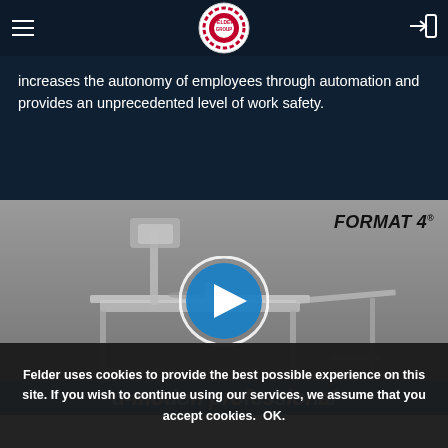Felder Group — navigation header with logo
increases the autonomy of employees through automation and provides an unprecedented level of work safety.
[Figure (screenshot): Format 4 woodworking machine (sliding table saw) 3D render with a blue play button overlay indicating a video thumbnail. Brand label 'FORMAT 4.' in top right corner.]
u-motion professional
Felder uses cookies to provide the best possible experience on this site. If you wish to continue using our services, we assume that you accept cookies.  OK.